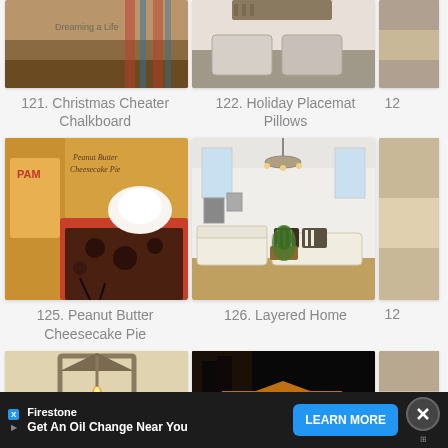[Figure (photo): Partial photo of Christmas Cheater Chalkboard craft]
[Figure (photo): Partial photo of Holiday Placemat Pillows]
[Figure (photo): Partial photo of item 123 (cropped right edge)]
121. Christmas Cheater Chalkboard
122. Holiday Placemat Pillows
12...
[Figure (photo): Peanut Butter Cheesecake Pie with whipped cream on top]
[Figure (photo): Layered Home interior with chandelier and white sofas]
[Figure (photo): Partial photo item 127 (cropped right edge)]
125. Peanut Butter Cheesecake Pie
126. Layered Home
12...
[Figure (photo): Metal lantern with red candle and holiday greenery]
[Figure (photo): Nighttime exterior of house decorated with Christmas lights]
[Figure (photo): Partial photo item (cropped right edge)]
Firestone
Get An Oil Change Near You
LEARN MORE